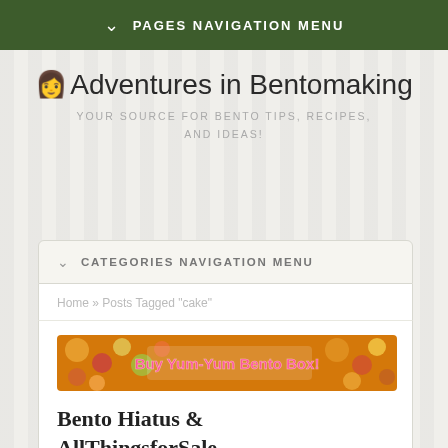PAGES NAVIGATION MENU
Adventures in Bentomaking
YOUR SOURCE FOR BENTO TIPS, RECIPES, AND IDEAS!
CATEGORIES NAVIGATION MENU
Home » Posts Tagged "cake"
[Figure (infographic): Colorful banner advertisement: Buy Yum-Yum Bento Box!]
Bento Hiatus & AllThingsforSale